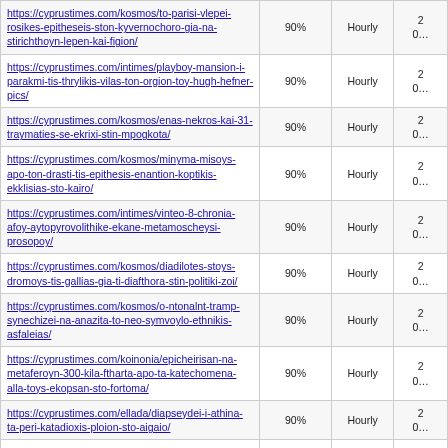| URL | Score | Frequency | Date |
| --- | --- | --- | --- |
| https://cyprustimes.com/kosmos/to-parisi-vlepei-rosikes-epitheseis-ston-kyvernochoro-gia-na-stirichthoyn-lepen-kai-figion/ | 90% | Hourly | 2…0… |
| https://cyprustimes.com/intimes/playboy-mansion-i-parakmi-tis-thrylikis-vilas-ton-orgion-toy-hugh-hefner-pics/ | 90% | Hourly | 2…0… |
| https://cyprustimes.com/kosmos/enas-nekros-kai-31-traymaties-se-ekrixi-stin-mpogkota/ | 90% | Hourly | 2…0… |
| https://cyprustimes.com/kosmos/minyma-misoys-apo-ton-drasti-tis-epithesis-enantion-koptikis-ekklisias-sto-kairo/ | 90% | Hourly | 2…0… |
| https://cyprustimes.com/intimes/vinteo-8-chronia-afoy-aytopyrovolithike-ekane-metamoscheysi-prosopoy/ | 90% | Hourly | 2…0… |
| https://cyprustimes.com/kosmos/diadilotes-stoys-dromoys-tis-gallias-gia-ti-diafthora-stin-politiki-zoi/ | 90% | Hourly | 2…0… |
| https://cyprustimes.com/kosmos/o-ntonalnt-tramp-synechizei-na-anazita-to-neo-symvoylo-ethnikis-asfaleias/ | 90% | Hourly | 2…0… |
| https://cyprustimes.com/koinonia/epicheirisan-na-metaferoyn-300-kila-ftharta-apo-ta-katechomena-alla-toys-ekopsan-sto-fortoma/ | 90% | Hourly | 2…0… |
| https://cyprustimes.com/ellada/diapseydei-i-athina-ta-peri-katadioxis-ploion-sto-aigaio/ | 90% | Hourly | 2…0… |
| https://cyprustimes.com/ellada/soimple-pote-den-apeilisa-tin-ellada-me-grexit/ | 90% | Hourly | 2…0… |
| https://cyprustimes.com/koinonia/ethelontes-dytes- | 90% | Hourly | 2…0… |